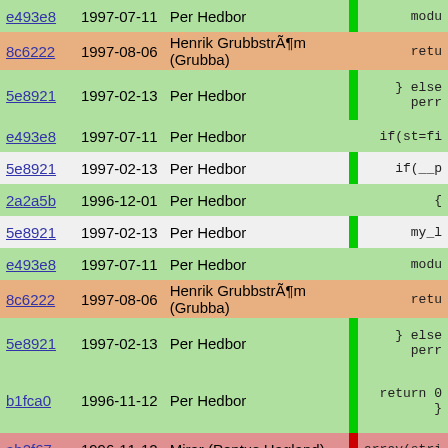| hash | date | author |  | code |
| --- | --- | --- | --- | --- |
| e493e8 | 1997-07-11 | Per Hedbor |  | modu |
| 8c6222 | 1997-08-06 | Henrik GrubbstrÃ¶m (Grubba) |  | retu |
| 5e8921 | 1997-02-13 | Per Hedbor |  | } else
perr |
| e493e8 | 1997-07-11 | Per Hedbor |  | if(st=fi |
| 5e8921 | 1997-02-13 | Per Hedbor |  | if(__p |
| 2a2a5b | 1996-12-01 | Per Hedbor |  | { |
| 5e8921 | 1997-02-13 | Per Hedbor |  | my_l |
| e493e8 | 1997-07-11 | Per Hedbor |  | modu |
| 8c6222 | 1997-08-06 | Henrik GrubbstrÃ¶m (Grubba) |  | retu |
| 5e8921 | 1997-02-13 | Per Hedbor |  | } else
perr |
| b1fca0 | 1996-11-12 | Per Hedbor |  | return 0
} |
| ab2f67 | 1996-11-12 | Mirar (Pontus Hagland) |  | array(stri |
| 5e4ede | 1996-11-12 | Per Hedbor |  | {
string n |
| ab2f67 | 1996-11-12 | Mirar (Pontus Hagland) |  | array(st |
| 5e4ede | 1996-11-12 | Per Hedbor |  |  |